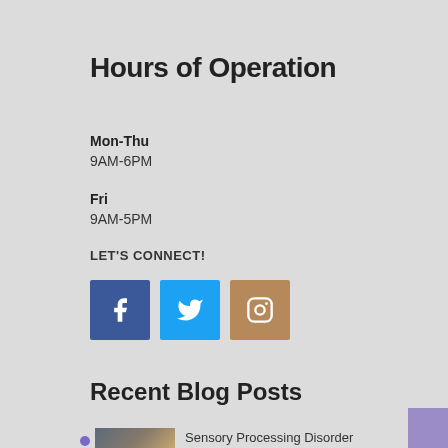Hours of Operation
Mon-Thu
9AM-6PM
Fri
9AM-5PM
LET'S CONNECT!
[Figure (infographic): Social media icons: Facebook (blue), Twitter (light blue), Instagram (brown/tan)]
Recent Blog Posts
[Figure (photo): Thumbnail photo showing colorful alphabet blocks with letter P visible]
Sensory Processing Disorder
August 1, 2019